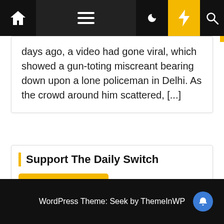[Figure (screenshot): Website navigation bar with home icon, hamburger menu, dark mode moon icon, yellow lightning bolt button, and search icon on dark background]
days ago, a video had gone viral, which showed a gun-toting miscreant bearing down upon a lone policeman in Delhi. As the crowd around him scattered, [...]
Support The Daily Switch
[Figure (infographic): Yellow Razorpay 'Support Now - Secured by Razorpay' button]
WordPress Theme: Seek by ThemeInWP